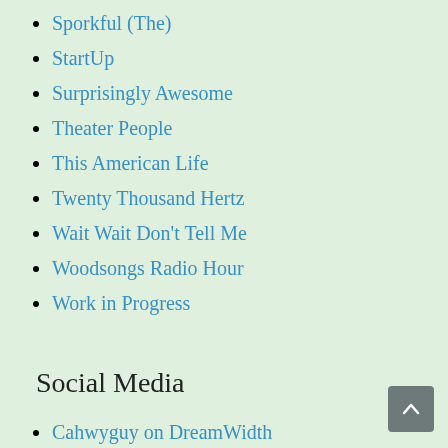Sporkful (The)
StartUp
Surprisingly Awesome
Theater People
This American Life
Twenty Thousand Hertz
Wait Wait Don't Tell Me
Woodsongs Radio Hour
Work in Progress
Social Media
Cahwyguy on DreamWidth
Cahwyguy on Facebook
Cahwyguy on Livejournal
Cahwyguy on Tumblr
Theatre: ①...Subscribe
5-Star Theatricals (nee Cabrillo)